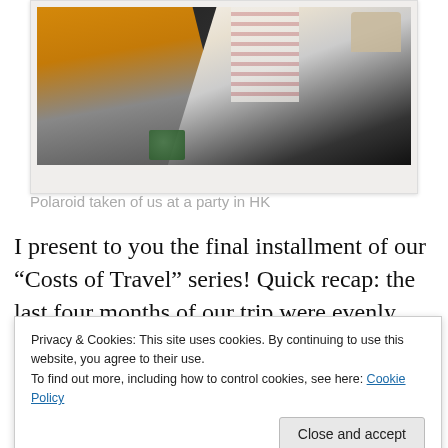[Figure (photo): Polaroid-style photo showing two people at a party in HK; one person on left in yellow/orange top, one on right in striped shirt making a peace sign; person on left holding a green cup/bowl. Dark background.]
Polaroid taken of us at a party in HK
I present to you the final installment of our “Costs of Travel” series! Quick recap: the last four months of our trip were evenly split between Southeast Asia
Privacy & Cookies: This site uses cookies. By continuing to use this website, you agree to their use.
To find out more, including how to control cookies, see here: Cookie Policy
the last four months as well as the trip as a whole to